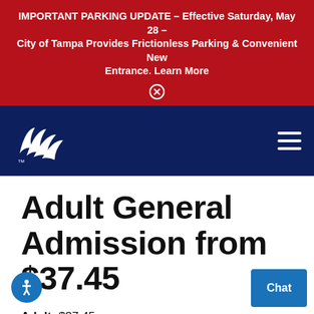IMPORTANT PARKING UPDATE – Effective Saturday, May 28 – City of Tampa Provides Frictionless Parking & Convenient New Entrance. Learn More
[Figure (logo): Florida Aquarium white logo on navy background]
Adult General Admission from $37.45
Adult: $37.45
Child: $31.95